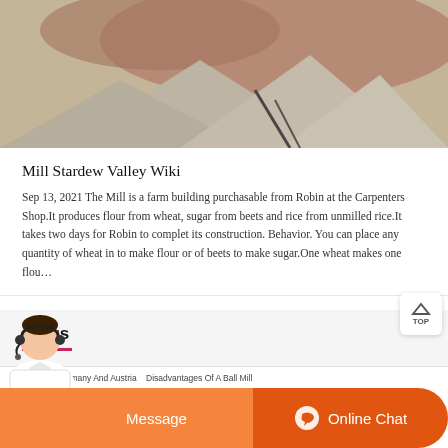[Figure (photo): Aerial or ground-level photo of piles of grey/beige mineral powder or sand with reddish-brown earth in background]
Mill Stardew Valley Wiki
Sep 13, 2021 The Mill is a farm building purchasable from Robin at the Carpenters Shop.It produces flour from wheat, sugar from beets and rice from unmilled rice.It takes two days for Robin to complet its construction. Behavior. You can place any quantity of wheat in to make flour or of beets to make sugar.One wheat makes one flou…
Blogs
Crushers In Germany And Austria   Disadvantages Of A Ball Mill